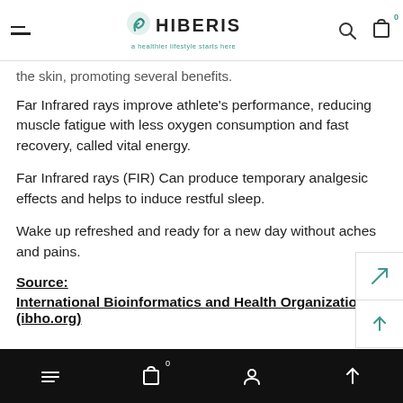HIBERIS — a healthier lifestyle starts here
the skin, promoting several benefits.
Far Infrared rays improve athlete's performance, reducing muscle fatigue with less oxygen consumption and fast recovery, called vital energy.
Far Infrared rays (FIR) Can produce temporary analgesic effects and helps to induce restful sleep.
Wake up refreshed and ready for a new day without aches and pains.
Source:
International Bioinformatics and Health Organization (ibho.org)
Bottom navigation bar